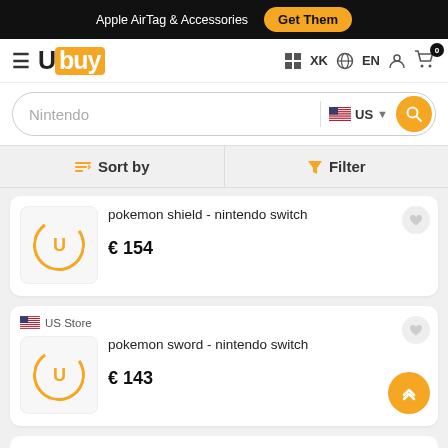Apple AirTag & Accessories  Get Them
[Figure (logo): Ubuy logo with yellow background square and hamburger menu icon]
XK  EN  user icon  cart 0
Nintendo  US  search button
Sort by  Filter
pokemon shield - nintendo switch
€ 154
US Store
pokemon sword - nintendo switch
€ 143